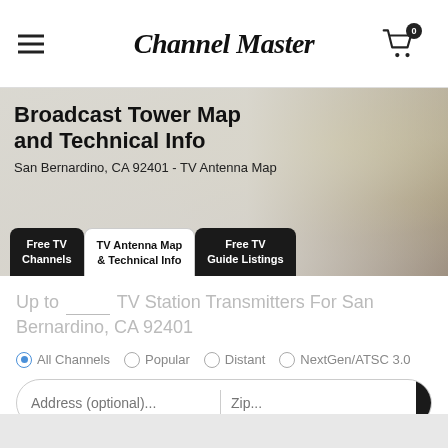Channel Master
Broadcast Tower Map and Technical Info
San Bernardino, CA 92401 - TV Antenna Map
Free TV Channels
TV Antenna Map & Technical Info
Free TV Guide Listings
Up to ____ TV Station Transmitters For San Bernardino, CA 92401
All Channels  Popular  Distant  NextGen/ATSC 3.0
Address (optional)...  Zip...